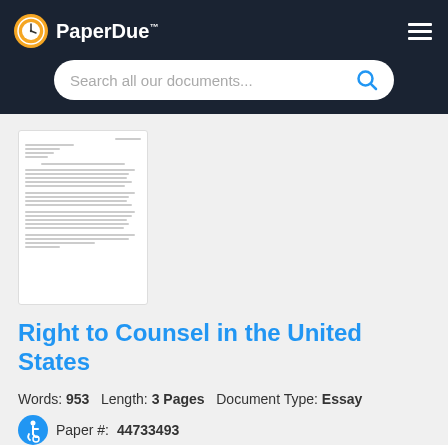[Figure (logo): PaperDue logo with clock icon and hamburger menu on dark background]
[Figure (screenshot): Search bar with placeholder text 'Search all our documents...' and blue search icon]
[Figure (photo): Thumbnail preview of a document page with text lines]
Right to Counsel in the United States
Words: 953   Length: 3 Pages   Document Type: Essay
Paper #: 44733493